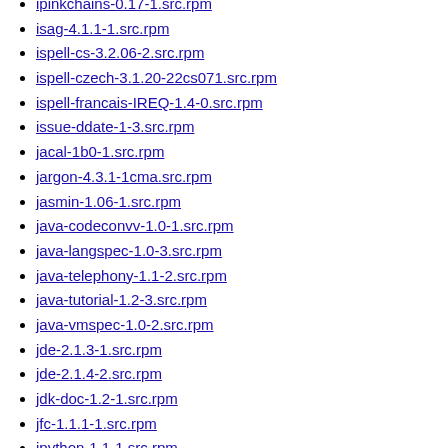ipinkchains-0.17-1.src.rpm
isag-4.1.1-1.src.rpm
ispell-cs-3.2.06-2.src.rpm
ispell-czech-3.1.20-22cs071.src.rpm
ispell-francais-IREQ-1.4-0.src.rpm
issue-ddate-1-3.src.rpm
jacal-1b0-1.src.rpm
jargon-4.3.1-1cma.src.rpm
jasmin-1.06-1.src.rpm
java-codeconvv-1.0-1.src.rpm
java-langspec-1.0-3.src.rpm
java-telephony-1.1-2.src.rpm
java-tutorial-1.2-3.src.rpm
java-vmspec-1.0-2.src.rpm
jde-2.1.3-1.src.rpm
jde-2.1.4-2.src.rpm
jdk-doc-1.2-1.src.rpm
jfc-1.1.1-1.src.rpm
jpython-1.1-1.src.rpm
jstools-0.1998.11.04-1.src.rpm
jumpshot-1.0-2.src.rpm
kautoconfigure-0.9.1.3-0.src.rpm
kdelinks-0.1.1-1.src.rpm
keychain-2.0.2-1.src.rpm
latex2html-99.1-1.src.rpm
latex2slides-0.5.1-1.src.rpm